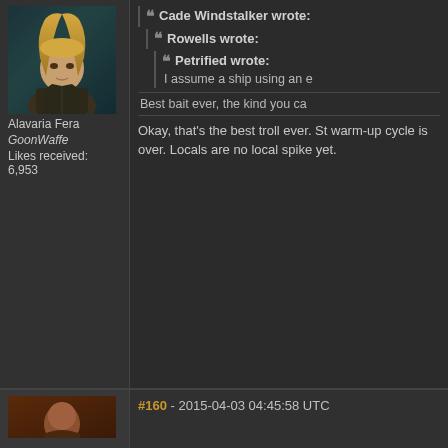[Figure (photo): Avatar image of a blonde female character (Alavaria Fera) from a sci-fi game, with dark background]
Alavaria Fera
GoonWaffe
Likes received: 6,953
Cade Windstalker wrote:
Rowells wrote:
Petrified wrote:
I assume a ship using an e
Best bait ever, the kind you ca
Okay, that's the best troll ever. St warm-up cycle is over. Locals are no local spike yet.
So you're consuming stront for the link a
Triggered by: Wars of Sovless Agressio Bombers, Fizzlesov, Interceptor Fleets,
#160 - 2015-04-03 04:45:58 UTC
[Figure (photo): Partial avatar image at bottom of page, dark reddish-brown tones]